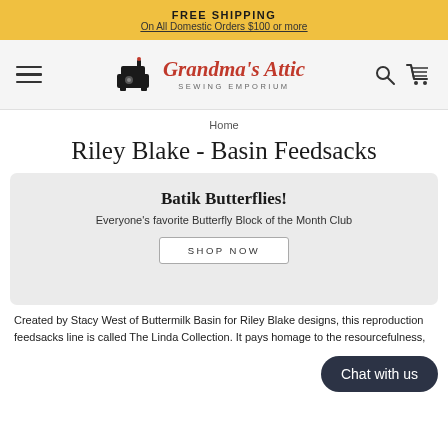FREE SHIPPING
On All Domestic Orders $100 or more
[Figure (logo): Grandma's Attic Sewing Emporium logo with sewing machine icon]
Home
Riley Blake - Basin Feedsacks
Batik Butterflies!
Everyone's favorite Butterfly Block of the Month Club
SHOP NOW
Chat with us
Created by Stacy West of Buttermilk Basin for Riley Blake designs, this reproduction feedsacks line is called The Linda Collection. It pays homage to the resourcefulness,